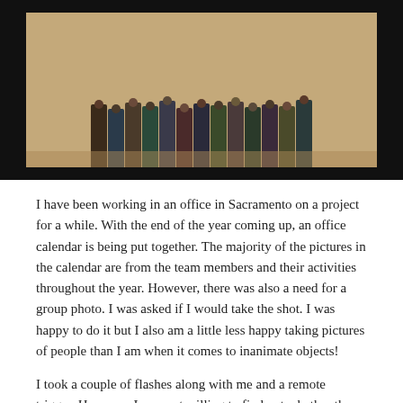[Figure (photo): Group photo of office team members standing in a row, viewed from above/distance, against a tan/beige floor background, framed with a black border]
I have been working in an office in Sacramento on a project for a while.  With the end of the year coming up, an office calendar is being put together.  The majority of the pictures in the calendar are from the team members and their activities throughout the year.  However, there was also a need for a group photo.  I was asked if I would take the shot.  I was happy to do it but I also am a little less happy taking pictures of people than I am when it comes to inanimate objects!
I took a couple of flashes along with me and a remote trigger.  However, I was not willing to find out whether the whole thing would work only when everyone was there.  Therefore, a little early setup was in order.  I had a couple of volunteers to help by standing in various places to see how